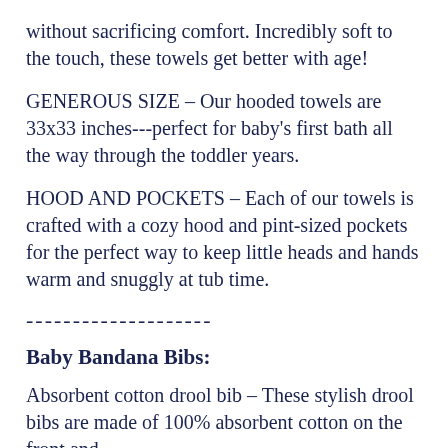without sacrificing comfort. Incredibly soft to the touch, these towels get better with age!
GENEROUS SIZE – Our hooded towels are 33X33 inches---perfect for baby's first bath all the way through the toddler years.
HOOD AND POCKETS – Each of our towels is crafted with a cozy hood and pint-sized pockets for the perfect way to keep little heads and hands warm and snuggly at tub time.
--------------------
Baby Bandana Bibs:
Absorbent cotton drool bib – These stylish drool bibs are made of 100% absorbent cotton on the front and